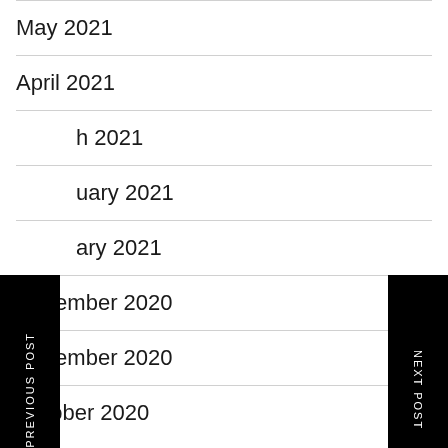May 2021
April 2021
h 2021
uary 2021
ary 2021
December 2020
November 2020
October 2020